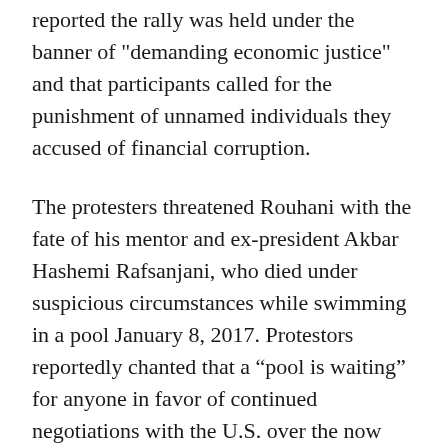reported the rally was held under the banner of "demanding economic justice" and that participants called for the punishment of unnamed individuals they accused of financial corruption.
The protesters threatened Rouhani with the fate of his mentor and ex-president Akbar Hashemi Rafsanjani, who died under suspicious circumstances while swimming in a pool January 8, 2017. Protestors reportedly chanted that a “pool is waiting” for anyone in favor of continued negotiations with the U.S. over the now seemingly defunct nuclear deal.
Referring to the Joint Comprehensive Plan of Action (JCPOA), Iran’s nuclear deal with world powers that the U.S. withdrew from in May, some of the protest signs read, "six years of negotiation led to nowhere" and "promoting of JCPOA, return to...